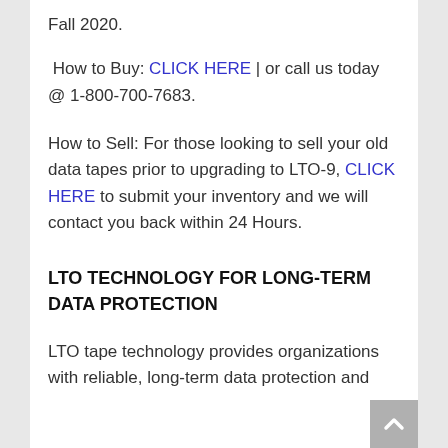Fall 2020.
How to Buy: CLICK HERE | or call us today @ 1-800-700-7683.
How to Sell: For those looking to sell your old data tapes prior to upgrading to LTO-9, CLICK HERE to submit your inventory and we will contact you back within 24 Hours.
LTO TECHNOLOGY FOR LONG-TERM DATA PROTECTION
LTO tape technology provides organizations with reliable, long-term data protection and